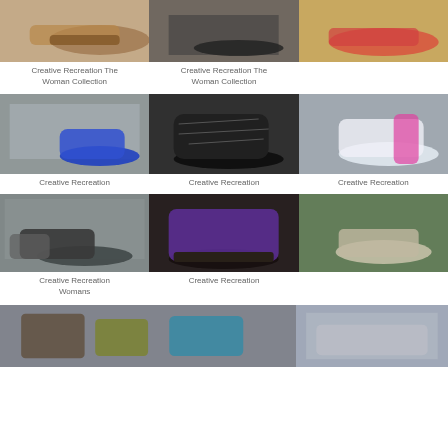[Figure (photo): Three photos of Creative Recreation shoes - The Woman Collection]
Creative Recreation The Woman Collection
Creative Recreation The Woman Collection
[Figure (photo): Three photos of Creative Recreation shoes]
Creative Recreation
Creative Recreation
Creative Recreation
[Figure (photo): Three photos of Creative Recreation shoes]
Creative Recreation Womans
Creative Recreation
[Figure (photo): Two photos of Creative Recreation shoes at bottom of page]